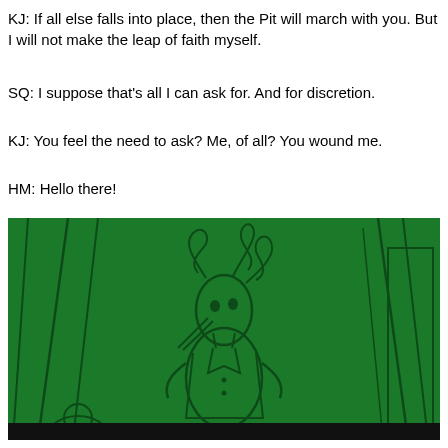KJ: If all else falls into place, then the Pit will march with you. But I will not make the leap of faith myself.
SQ: I suppose that's all I can ask for. And for discretion.
KJ: You feel the need to ask? Me, of all? You wound me.
HM: Hello there!
[Figure (illustration): A green-tinted illustration showing a tall alien/creature character with a long beak and curled antennae, wearing a suit, standing in an interior setting. The image has dark outlines on a green background.]